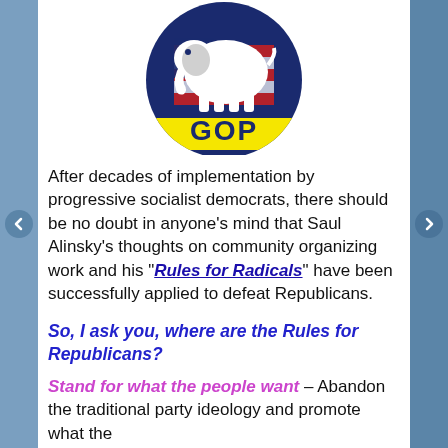[Figure (logo): GOP Republican elephant logo on circular blue background with American flag motif, yellow 'GOP' text at bottom]
After decades of implementation by progressive socialist democrats, there should be no doubt in anyone's mind that Saul Alinsky's thoughts on community organizing work and his “Rules for Radicals” have been successfully applied to defeat Republicans.
So, I ask you, where are the Rules for Republicans?
Stand for what the people want – Abandon the traditional party ideology and promote what the